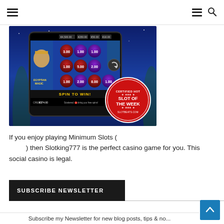≡  ≡ 🔍
[Figure (screenshot): Screenshot of Egyptian Magic slot machine game on a mobile phone, with a 'Certified Hot Slot of the Week – Slotbeats.com' badge in the bottom right corner. Blue starry background. Slot reels show numbers like 3.00, 1.00, 5.00, 2.00, 8.00. Text reads 'SPIN TO WIN!' and '€174.00' and '€1.00'.]
If you enjoy playing Minimum Slots ( ) then Slotking777 is the perfect casino game for you. This social casino is legal.
SUBSCRIBE NEWSLETTER
Subscribe my Newsletter for new blog posts, tips & no...